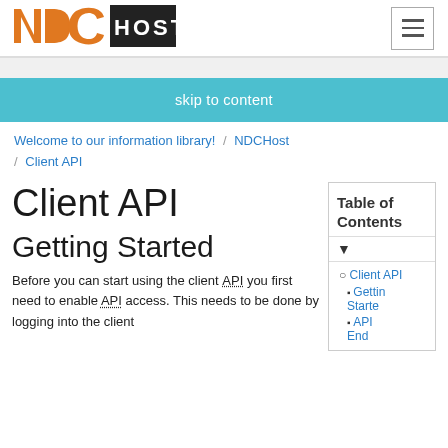[Figure (logo): NDCHost logo: orange NDC letters with HOST in black rectangle]
NDCHost navigation header with hamburger menu icon
skip to content
Welcome to our information library! / NDCHost / Client API
Client API
Getting Started
Before you can start using the client API you first need to enable API access. This needs to be done by logging into the client
Table of Contents
Client API
Getting Started
API End